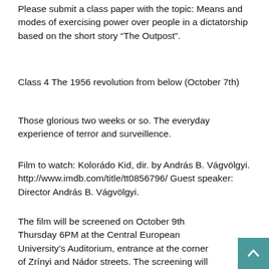Please submit a class paper with the topic: Means and modes of exercising power over people in a dictatorship based on the short story “The Outpost”.
Class 4 The 1956 revolution from below (October 7th)
Those glorious two weeks or so. The everyday experience of terror and surveillence.
Film to watch: Kolorádo Kid, dir. by András B. Vágvölgyi. http://www.imdb.com/title/tt0856796/ Guest speaker: Director András B. Vágvölgyi.
The film will be screened on October 9th Thursday 6PM at the Central European University’s Auditorium, entrance at the corner of Zrínyi and Nádor streets. The screening will be followed by a talk by Vágvölgyi and Chief Archivist András Mink of the Open Society Archives, renowned expert on the period. Please attend the screening, it will be counted as a regular class. Please watch the movie and make a usual written composition for the following class